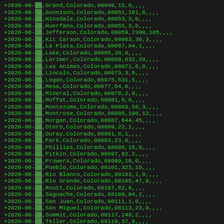+2020-06-10,Grand,Colorado,08049,15,0,,,,
+2020-06-10,Gunnison,Colorado,08051,181,6,,,,
+2020-06-10,Hinsdale,Colorado,08053,3,0,,,,
+2020-06-10,Huerfano,Colorado,08055,3,0,,,,
+2020-06-10,Jefferson,Colorado,08059,2398,185,,,,
+2020-06-10,Kit Carson,Colorado,08063,30,3,,,,
+2020-06-10,La Plata,Colorado,08067,84,1,,,,
+2020-06-10,Lake,Colorado,08065,38,0,,,,
+2020-06-10,Larimer,Colorado,08069,632,28,,,,
+2020-06-10,Las Animas,Colorado,08071,6,0,,,,
+2020-06-10,Lincoln,Colorado,08073,3,0,,,,
+2020-06-10,Logan,Colorado,08075,631,5,,,,
+2020-06-10,Mesa,Colorado,08077,64,0,,,,
+2020-06-10,Mineral,Colorado,08079,2,0,,,,
+2020-06-10,Moffat,Colorado,08081,8,0,,,,
+2020-06-10,Montezuma,Colorado,08083,58,3,,,,
+2020-06-10,Montrose,Colorado,08085,190,12,,,,
+2020-06-10,Morgan,Colorado,08087,644,45,,,,
+2020-06-10,Otero,Colorado,08089,22,1,,,,
+2020-06-10,Ouray,Colorado,08091,8,1,,,,
+2020-06-10,Park,Colorado,08093,23,0,,,,
+2020-06-10,Phillips,Colorado,08095,15,0,,,,
+2020-06-10,Pitkin,Colorado,08097,62,2,,,,
+2020-06-10,Prowers,Colorado,08099,16,0,,,,
+2020-06-10,Pueblo,Colorado,08101,323,19,,,,
+2020-06-10,Rio Blanco,Colorado,08103,1,0,,,,
+2020-06-10,Rio Grande,Colorado,08105,47,0,,,,
+2020-06-10,Routt,Colorado,08107,62,6,,,,
+2020-06-10,Saguache,Colorado,08109,94,2,,,,
+2020-06-10,San Juan,Colorado,08111,1,0,,,,
+2020-06-10,San Miguel,Colorado,08113,23,0,,,,
+2020-06-10,Summit,Colorado,08117,248,2,,,,
+2020-06-10,Teller,Colorado,08119,37,0,,,,